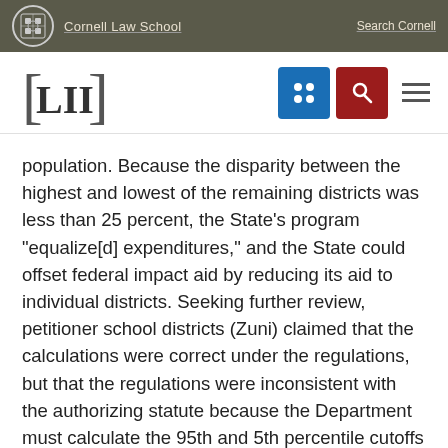Cornell Law School | Search Cornell
[Figure (logo): LII Legal Information Institute logo with Cornell Law School branding, navigation icons including a grid icon (blue) and search icon (red), and a hamburger menu]
population. Because the disparity between the highest and lowest of the remaining districts was less than 25 percent, the State’s program “equalize[d] expenditures,” and the State could offset federal impact aid by reducing its aid to individual districts. Seeking further review, petitioner school districts (Zuni) claimed that the calculations were correct under the regulations, but that the regulations were inconsistent with the authorizing statute because the Department must calculate the 95th and 5th percentile cutoffs based solely on the number of school districts without considering the number of pupils in those districts. A Department Administrative Law Judge and the Secretary both rejected this challenge, and the en